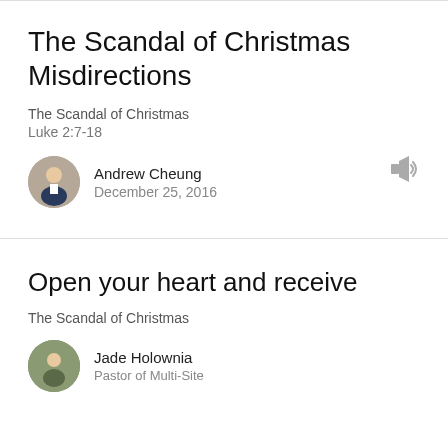The Scandal of Christmas Misdirections
The Scandal of Christmas
Luke 2:7-18
Andrew Cheung
December 25, 2016
Open your heart and receive
The Scandal of Christmas
Jade Holownia
Pastor of Multi-Site